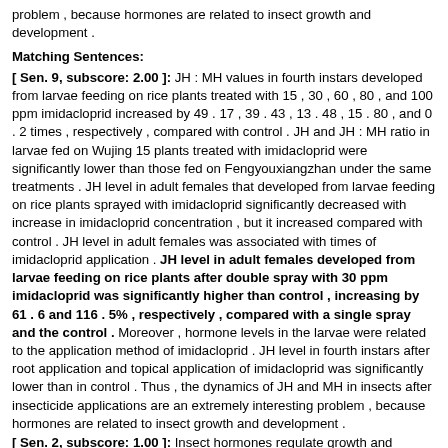problem , because hormones are related to insect growth and development .
Matching Sentences:
[ Sen. 9, subscore: 2.00 ]: JH : MH values in fourth instars developed from larvae feeding on rice plants treated with 15 , 30 , 60 , 80 , and 100 ppm imidacloprid increased by 49 . 17 , 39 . 43 , 13 . 48 , 15 . 80 , and 0 . 2 times , respectively , compared with control . JH and JH : MH ratio in larvae fed on Wujing 15 plants treated with imidacloprid were significantly lower than those fed on Fengyouxiangzhan under the same treatments . JH level in adult females that developed from larvae feeding on rice plants sprayed with imidacloprid significantly decreased with increase in imidacloprid concentration , but it increased compared with control . JH level in adult females was associated with times of imidacloprid application . JH level in adult females developed from larvae feeding on rice plants after double spray with 30 ppm imidacloprid was significantly higher than control , increasing by 61 . 6 and 116 . 5% , respectively , compared with a single spray and the control . Moreover , hormone levels in the larvae were related to the application method of imidacloprid . JH level in fourth instars after root application and topical application of imidacloprid was significantly lower than in control . Thus , the dynamics of JH and MH in insects after insecticide applications are an extremely interesting problem , because hormones are related to insect growth and development .
[ Sen. 2, subscore: 1.00 ]: Insect hormones regulate growth and development and fecundity of insects . The current study investigated changes in juvenile hormone ( JH ) and molting hormone ( MH ) levels in fourth instars and adult females of Chilo suppressalis ( Walker ) ( Lepidoptera : Pyralidae ) after imidacloprid application to rice , Oryza sativa L The results showed that JH level in fourth instars that developed feeding on Fengyouxiangzhan rice plants